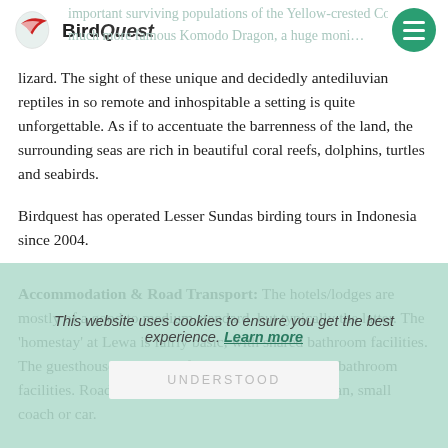BirdQuest
important surviving populations of the Yellow-crested Cockatoo much more famous Komodo Dragon, a huge monitor lizard. The sight of these unique and decidedly antediluvian reptiles in so remote and inhospitable a setting is quite unforgettable. As if to accentuate the barrenness of the land, the surrounding seas are rich in beautiful coral reefs, dolphins, turtles and seabirds.
Birdquest has operated Lesser Sundas birding tours in Indonesia since 2004.
Accommodation & Road Transport: The hotels/lodges are mostly of a good to medium standard, but typically the latter. The 'homestay' at Lewa is fairly basic, with shared bathroom facilities. The guesthouse at Kisol is fairly basic, with shared bathroom facilities. Road transport is by minibus/passenger van, small coach or car.
Walking: The walking during our Lesser Sundas, Indonesia birding tour ranges from easy to moderate, with some more difficult terrain